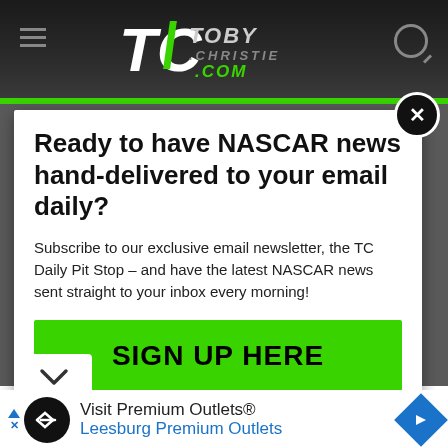TobyChriste.com — navigation header
Ready to have NASCAR news hand-delivered to your email daily?
Subscribe to our exclusive email newsletter, the TC Daily Pit Stop – and have the latest NASCAR news sent straight to your inbox every morning!
SIGN UP HERE
Visit Premium Outlets® Leesburg Premium Outlets